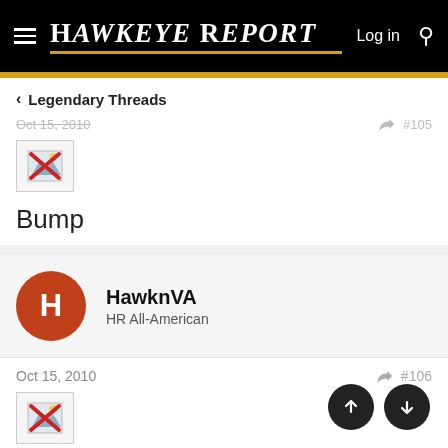Hawkeye Report | Log in
< Legendary Threads
Oct 15, 2010  #105
[Figure (other): Broken image placeholder with red X]
Bump
HawknVA
HR All-American
Oct 15, 2010  #106
[Figure (other): Broken image placeholder with red X]